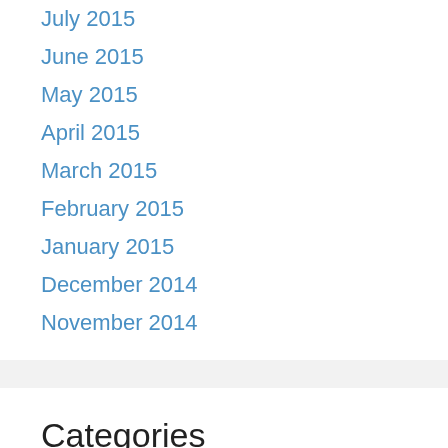July 2015
June 2015
May 2015
April 2015
March 2015
February 2015
January 2015
December 2014
November 2014
Categories
American History